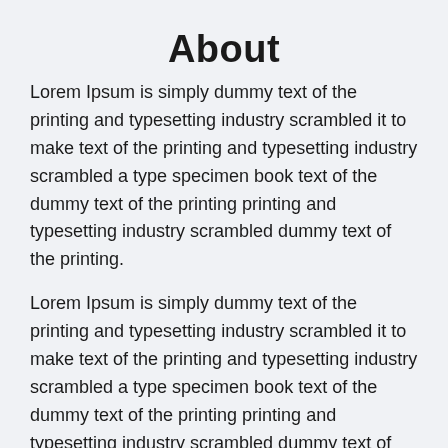About
Lorem Ipsum is simply dummy text of the printing and typesetting industry scrambled it to make text of the printing and typesetting industry scrambled a type specimen book text of the dummy text of the printing printing and typesetting industry scrambled dummy text of the printing.
Lorem Ipsum is simply dummy text of the printing and typesetting industry scrambled it to make text of the printing and typesetting industry scrambled a type specimen book text of the dummy text of the printing printing and typesetting industry scrambled dummy text of the printing.
Lorem Ipsum is simply dummy text of the printing and typesetting industry scrambled it to make text of the printing and typesetting industry scrambled a type specimen book text of the dummy text of the printing printing and typesetting industry scrambled dummy text of the printing.
Lorem Ipsum is simply dummy text of the printing and